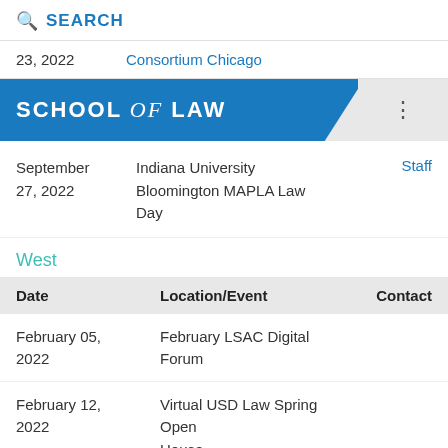SEARCH
23, 2022    Consortium Chicago
[Figure (other): School of Law banner with blue background and gray section with three dots menu]
September 27, 2022    Indiana University Bloomington MAPLA Law Day    Staff
West
| Date | Location/Event | Contact |
| --- | --- | --- |
| February 05, 2022 | February LSAC Digital Forum |  |
| February 12, 2022 | Virtual USD Law Spring Open House |  |